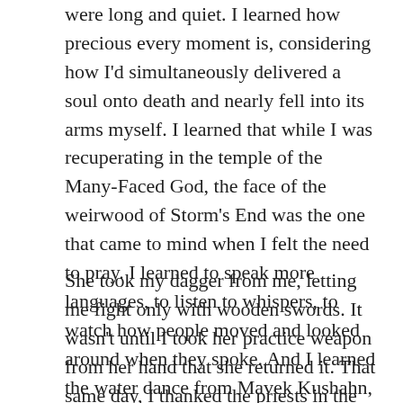were long and quiet. I learned how precious every moment is, considering how I'd simultaneously delivered a soul onto death and nearly fell into its arms myself. I learned that while I was recuperating in the temple of the Many-Faced God, the face of the weirwood of Storm's End was the one that came to mind when I felt the need to pray. I learned to speak more languages, to listen to whispers, to watch how people moved and looked around when they spoke. And I learned the water dance from Mavek Kushahn, Third Sword of Braavos.
She took my dagger from me, letting me fight only with wooden swords. It wasn't until I took her practice weapon from her hand that she returned it. That same day, I thanked the priests in the House of Black and White and, wearing the clothes of a bravo, hired myself